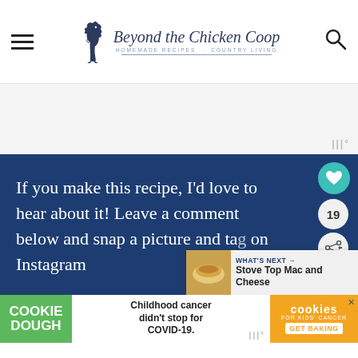Beyond the Chicken Coop — Homemade Recipes · Country Living
[Figure (other): Advertisement banner area (gray background)]
If you make this recipe, I'd love to hear about it! Leave a comment below and snap a picture and tag on Instagram
[Figure (other): What's Next promo: Stove Top Mac and Cheese]
[Figure (other): Cookie Dough ad: Childhood cancer didn't stop for COVID-19. Cookies for kids' cancer — GET BAKING]